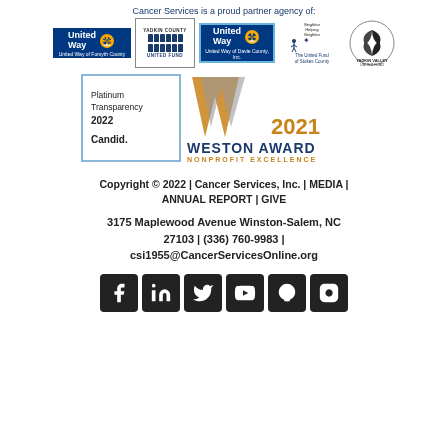Cancer Services is a proud partner agency of:
[Figure (logo): Five partner agency logos: United Way of Forsyth County, Yadkin County United Fund, United Way of Davie County Inc., The United Fund of Stokes County, Yadkin Valley United Fund]
[Figure (logo): Platinum Transparency 2022 Candid. seal and 2021 Weston Award Nonprofit Excellence logo]
Copyright © 2022 | Cancer Services, Inc. | MEDIA | ANNUAL REPORT | GIVE
3175 Maplewood Avenue Winston-Salem, NC 27103 | (336) 760-9983 | csi1955@CancerServicesOnline.org
[Figure (illustration): Social media icons: Facebook, LinkedIn, Twitter, YouTube, Podcast, Instagram]